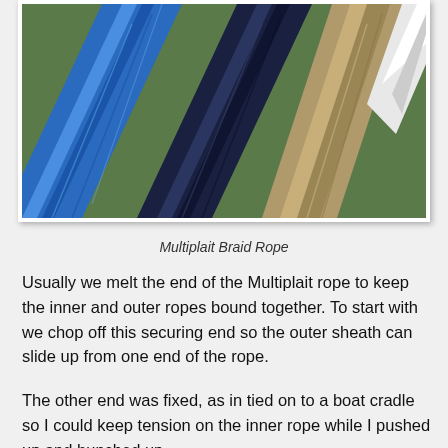[Figure (photo): Close-up photograph of four braided ropes laid diagonally on a green surface: a bright blue rope, a dark navy rope, a tan/beige rope, and a white rope — collectively illustrating Multiplait Braid Rope.]
Multiplait Braid Rope
Usually we melt the end of the Multiplait rope to keep the inner and outer ropes bound together. To start with we chop off this securing end so the outer sheath can slide up from one end of the rope.
The other end was fixed, as in tied on to a boat cradle so I could keep tension on the inner rope while I pushed up and bunched up